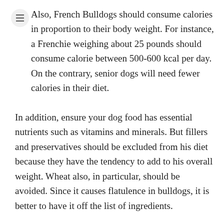Also, French Bulldogs should consume calories in proportion to their body weight. For instance, a Frenchie weighing about 25 pounds should consume calorie between 500-600 kcal per day. On the contrary, senior dogs will need fewer calories in their diet.
In addition, ensure your dog food has essential nutrients such as vitamins and minerals. But fillers and preservatives should be excluded from his diet because they have the tendency to add to his overall weight. Wheat also, in particular, should be avoided. Since it causes flatulence in bulldogs, it is better to have it off the list of ingredients.